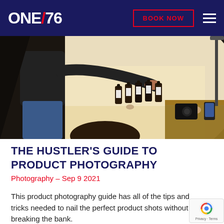ONE/76 — BOOK NOW
[Figure (photo): Person arranging small dark bottles with white labels on a white seamless photography backdrop in a studio setting. A second person is visible in the foreground. Camera equipment and a wooden table visible in the background.]
THE HUSTLER'S GUIDE TO PRODUCT PHOTOGRAPHY
Photography – Sep 9 2021
This product photography guide has all of the tips and tricks needed to nail the perfect product shots without breaking the bank.